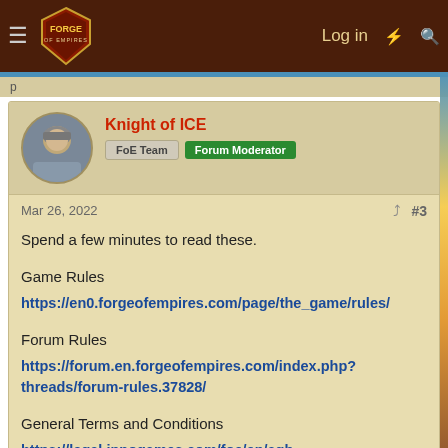Forge of Empires — Log in
Knight of ICE
FoE Team   Forum Moderator
Mar 26, 2022  #3
Spend a few minutes to read these.
Game Rules
https://en0.forgeofempires.com/page/the_game/rules/
Forum Rules
https://forum.en.forgeofempires.com/index.php?threads/forum-rules.37828/
General Terms and Conditions
https://legal.innogames.com/foe/en/agb